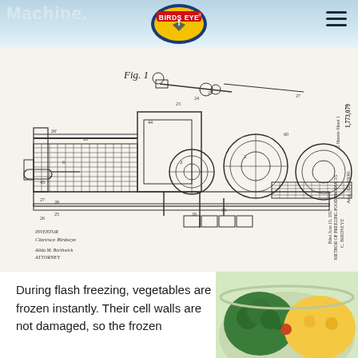Machine.
[Figure (logo): Birds Eye brand logo, oval shape with blue border, red and white text 'BIRDS EYE' with a bird/lightning bolt graphic on yellow background]
[Figure (engineering-diagram): Patent drawing Fig.1 of a flash freezing machine by C. Birdseye, patent number 1,773,079, dated Aug. 12, 1930, filed June 15, 1927. Shows detailed mechanical diagram of industrial freezing equipment with numbered parts, conveyor belt, drums, and mechanical components. Signed by inventor Clarence Birdseye. 5 Sheets-Sheet 1.]
During flash freezing, vegetables are frozen instantly. Their cell walls are not damaged, so the frozen
[Figure (photo): Bowl of mixed frozen vegetables including broccoli, corn, and other vegetables, shown from above]